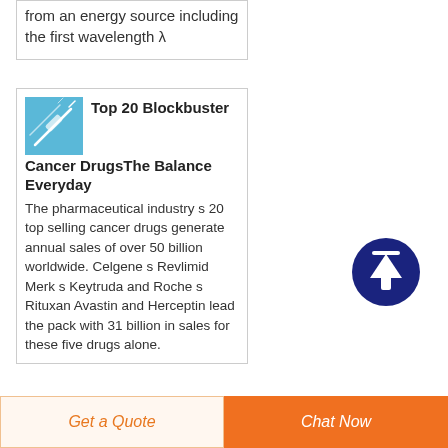from an energy source including the first wavelength λ
[Figure (photo): Thumbnail image of syringes/needles on blue background]
Top 20 Blockbuster Cancer DrugsThe Balance Everyday
The pharmaceutical industry s 20 top selling cancer drugs generate annual sales of over 50 billion worldwide. Celgene s Revlimid Merk s Keytruda and Roche s Rituxan Avastin and Herceptin lead the pack with 31 billion in sales for these five drugs alone.
[Figure (other): Scroll-to-top circular button with upward arrow, dark navy background]
Get a Quote   Chat Now